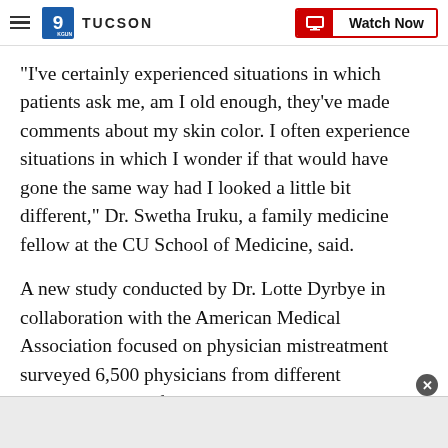9NEWS TUCSON | Watch Now
"I've certainly experienced situations in which patients ask me, am I old enough, they've made comments about my skin color. I often experience situations in which I wonder if that would have gone the same way had I looked a little bit different," Dr. Swetha Iruku, a family medicine fellow at the CU School of Medicine, said.
A new study conducted by Dr. Lotte Dyrbye in collaboration with the American Medical Association focused on physician mistreatment surveyed 6,500 physicians from different backgrounds and found that